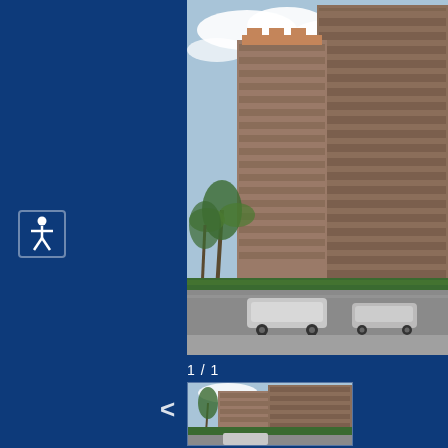[Figure (photo): Exterior street-level view of two high-rise condominium/apartment towers, brown brick facades with balconies, palm trees in foreground, cars parked on street, blue sky with clouds]
[Figure (illustration): White accessibility/person icon on dark blue background in a small rounded box]
1 / 1
[Figure (photo): Thumbnail version of the same high-rise building photo]